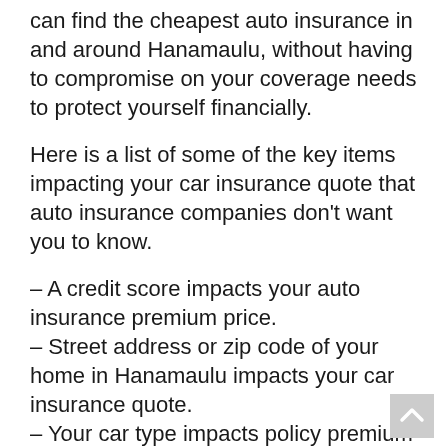can find the cheapest auto insurance in and around Hanamaulu, without having to compromise on your coverage needs to protect yourself financially.
Here is a list of some of the key items impacting your car insurance quote that auto insurance companies don't want you to know.
– A credit score impacts your auto insurance premium price.
– Street address or zip code of your home in Hanamaulu impacts your car insurance quote.
– Your car type impacts policy premium prices.
– Your age impacts auto insurance premium prices.